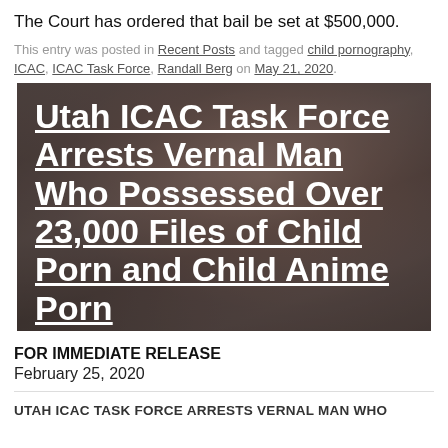The Court has ordered that bail be set at $500,000.
This entry was posted in Recent Posts and tagged child pornography, ICAC, ICAC Task Force, Randall Berg on May 21, 2020.
[Figure (photo): News article image with overlaid headline text: Utah ICAC Task Force Arrests Vernal Man Who Possessed Over 23,000 Files of Child Porn and Child Anime Porn. Background shows a person's face.]
FOR IMMEDIATE RELEASE
February 25, 2020
UTAH ICAC TASK FORCE ARRESTS VERNAL MAN WHO